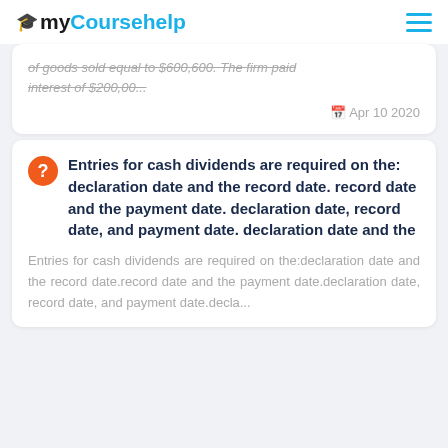myCoursehelp
of goods sold equal to $600,600. The firm paid interest of $200,00...
Apr 10 2020
Entries for cash dividends are required on the: declaration date and the record date. record date and the payment date. declaration date, record date, and payment date. declaration date and the
Entries for cash dividends are required on the:declaration date and the record date.record date and the payment date.declaration date, record date, and payment date.decla...